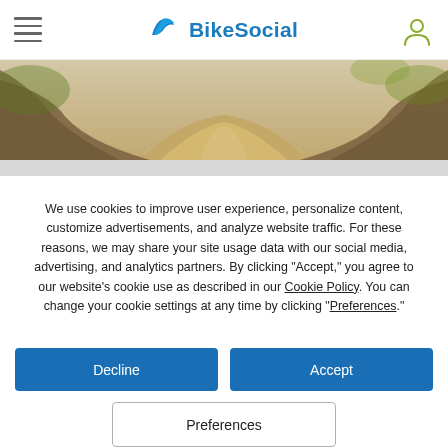BikeSocial
[Figure (photo): Dirt road/trail path through wooded area, panoramic banner photo]
We use cookies to improve user experience, personalize content, customize advertisements, and analyze website traffic. For these reasons, we may share your site usage data with our social media, advertising, and analytics partners. By clicking "Accept," you agree to our website's cookie use as described in our Cookie Policy. You can change your cookie settings at any time by clicking “Preferences.”
Decline
Accept
Preferences